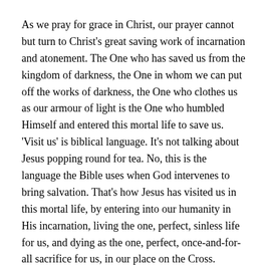As we pray for grace in Christ, our prayer cannot but turn to Christ's great saving work of incarnation and atonement. The One who has saved us from the kingdom of darkness, the One in whom we can put off the works of darkness, the One who clothes us as our armour of light is the One who humbled Himself and entered this mortal life to save us. 'Visit us' is biblical language. It's not talking about Jesus popping round for tea. No, this is the language the Bible uses when God intervenes to bring salvation. That's how Jesus has visited us in this mortal life, by entering into our humanity in His incarnation, living the one, perfect, sinless life for us, and dying as the one, perfect, once-and-for-all sacrifice for us, in our place on the Cross.
5. Jesus is coming again to judge the quick and the dead
But that atoning death on the Cross wasn't the end, for